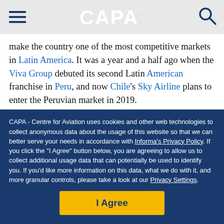CAPA
make the country one of the most competitive markets in Latin America. It was a year and a half ago when the Viva Group debuted its second Latin American franchise in Peru, and now Chile's Sky Airline plans to enter the Peruvian market in 2019.
At the same time, the country's second largest airline based on passenger share – Peruvian Airlines – aims to
CAPA - Centre for Aviation uses cookies and other web technologies to collect anonymous data about the usage of this website so that we can better serve your needs in accordance with Informa's Privacy Policy. If you click the "I Agree" button below, you are agreeing to allow us to collect additional usage data that can potentially be used to identify you. If you'd like more information on this data, what we do with it, and more granular controls, please take a look at our Privacy Settings.
I Agree